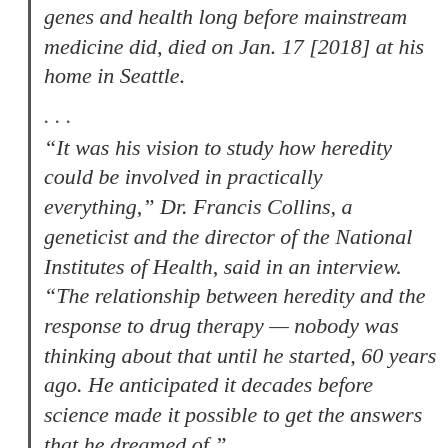genes and health long before mainstream medicine did, died on Jan. 17 [2018] at his home in Seattle.
. . .
“It was his vision to study how heredity could be involved in practically everything,” Dr. Francis Collins, a geneticist and the director of the National Institutes of Health, said in an interview. “The relationship between heredity and the response to drug therapy — nobody was thinking about that until he started, 60 years ago. He anticipated it decades before science made it possible to get the answers that he dreamed of.”